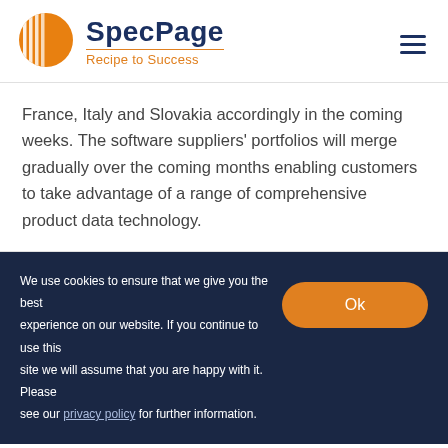[Figure (logo): SpecPage logo: orange circle with white stripe pattern, beside blue bold text 'SpecPage' and orange tagline 'Recipe to Success']
France, Italy and Slovakia accordingly in the coming weeks. The software suppliers' portfolios will merge gradually over the coming months enabling customers to take advantage of a range of comprehensive product data technology.
We use cookies to ensure that we give you the best experience on our website. If you continue to use this site we will assume that you are happy with it. Please see our privacy policy for further information.